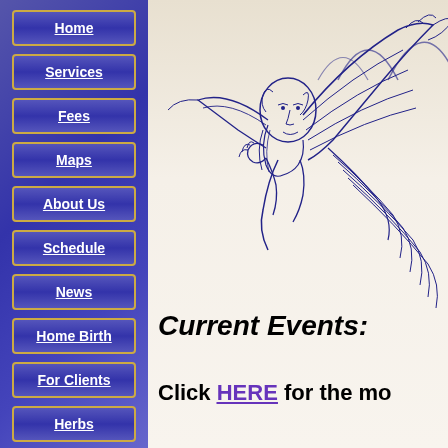Home
Services
Fees
Maps
About Us
Schedule
News
Home Birth
For Clients
Herbs
Links
[Figure (illustration): Line drawing of an angel figure with large wings, bearded face, contemplative pose, drawn in dark blue ink on light background]
Current Events:
Click HERE for the mo